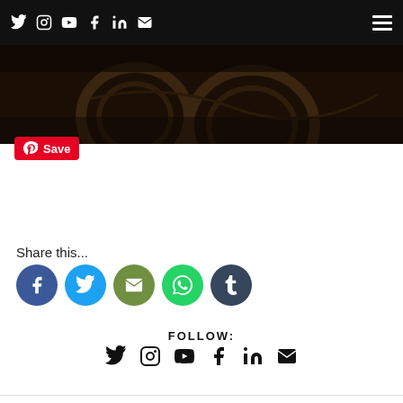Social media navigation icons: Twitter, Instagram, YouTube, Facebook, LinkedIn, Email; Hamburger menu
[Figure (photo): Dark moody photo of what appears to be bicycle wheels or chains on a forest floor]
Save
Share this...
[Figure (infographic): Share buttons: Facebook (blue circle), Twitter (light blue circle), Email (olive green circle), WhatsApp (green circle), Tumblr (dark blue circle)]
FOLLOW:
[Figure (infographic): Follow icons: Twitter, Instagram, YouTube, Facebook, LinkedIn, Email — all in black]